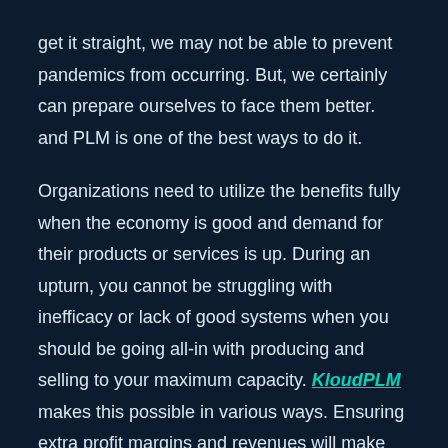get it straight, we may not be able to prevent pandemics from occurring. But, we certainly can prepare ourselves to face them better. and PLM is one of the best ways to do it.
Organizations need to utilize the benefits fully when the economy is good and demand for their products or services is up. During an upturn, you cannot be struggling with inefficacy or lack of good systems when you should be going all-in with producing and selling to your maximum capacity. KloudPLM makes this possible in various ways. Ensuring extra profit margins and revenues will make you pandemic resilient for the future.